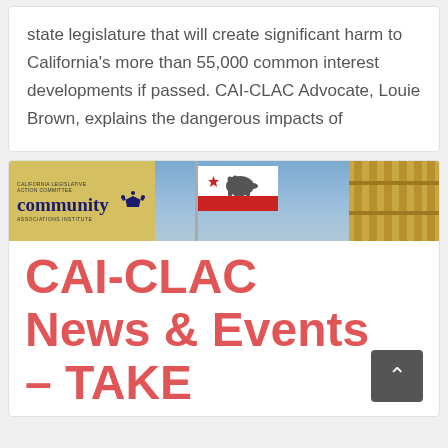state legislature that will create significant harm to California's more than 55,000 common interest developments if passed. CAI-CLAC Advocate, Louie Brown, explains the dangerous impacts of
[Figure (photo): CAI-CLAC banner with Community Associations Institute logo on the left (gold background), California state flag in the center, and a building on the right]
CAI-CLAC News & Events – TAKE